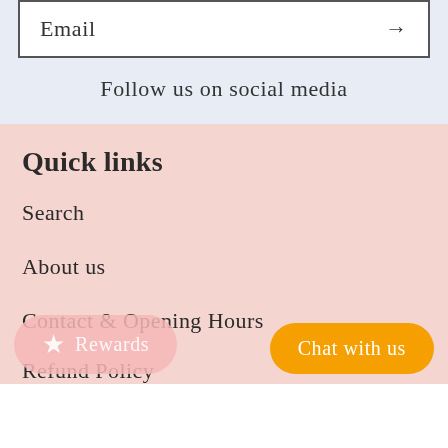Email →
Follow us on social media
Quick links
Search
About us
Contact & Opening Hours
Rewards
Chat with us
Refund Policy